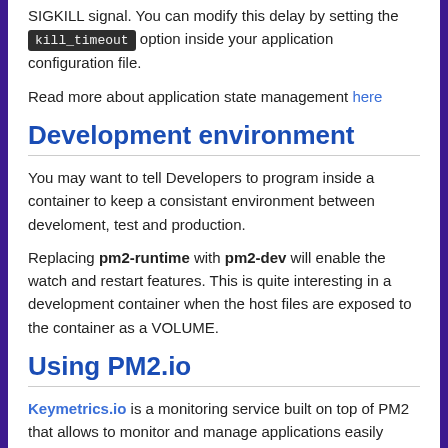SIGKILL signal. You can modify this delay by setting the kill_timeout option inside your application configuration file.
Read more about application state management here
Development environment
You may want to tell Developers to program inside a container to keep a consistant environment between develoment, test and production.
Replacing pm2-runtime with pm2-dev will enable the watch and restart features. This is quite interesting in a development container when the host files are exposed to the container as a VOLUME.
Using PM2.io
Keymetrics.io is a monitoring service built on top of PM2 that allows to monitor and manage applications easily